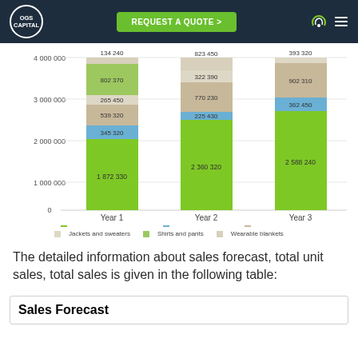OGS CAPITAL | REQUEST A QUOTE
[Figure (stacked-bar-chart): Sales Forecast Chart]
The detailed information about sales forecast, total unit sales, total sales is given in the following table:
Sales Forecast